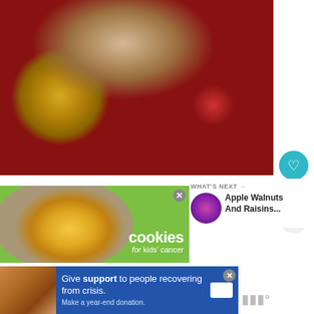[Figure (photo): Overhead photo of Christmas cookies dusted with powdered sugar in a gold round plate, surrounded by pine branches, gold and red ornament balls, and a wrapped gift with gold ribbon on a wooden surface.]
[Figure (infographic): Advertisement for Cookies for Kids' Cancer showing hands holding a heart-shaped cookie against a green background with the Cookies for Kids' Cancer logo.]
[Figure (photo): Advertisement banner showing a couple and text 'Give support to people recovering from crisis. Make a year-end donation.' on a blue background.]
288
WHAT'S NEXT →
Apple Walnuts And Raisins...